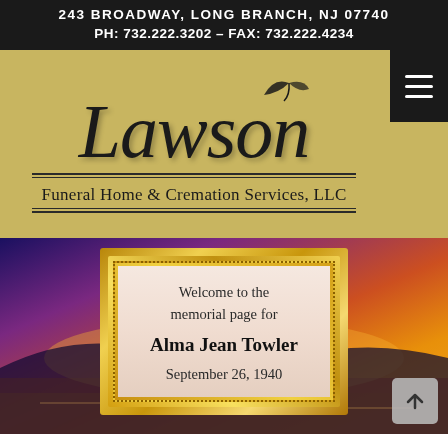243 BROADWAY, LONG BRANCH, NJ 07740
PH: 732.222.3202 – FAX: 732.222.4234
[Figure (logo): Lawson Funeral Home & Cremation Services, LLC logo on gold background with cursive Lawson script]
[Figure (illustration): Memorial page card for Alma Jean Towler set against a sunset beach background with gold ornate frame. Text reads: Welcome to the memorial page for Alma Jean Towler, September 26, 1940]
Welcome to the memorial page for
Alma Jean Towler
September 26, 1940